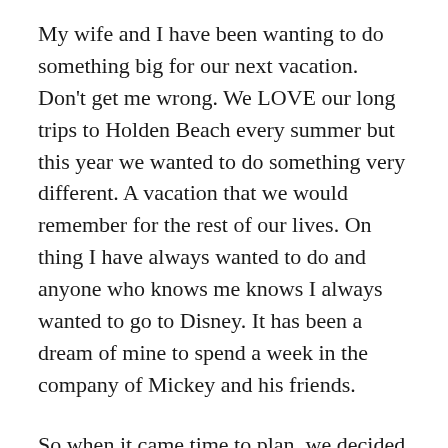My wife and I have been wanting to do something big for our next vacation. Don't get me wrong. We LOVE our long trips to Holden Beach every summer but this year we wanted to do something very different. A vacation that we would remember for the rest of our lives. On thing I have always wanted to do and anyone who knows me knows I always wanted to go to Disney. It has been a dream of mine to spend a week in the company of Mickey and his friends.
So when it came time to plan, we decided that why not make it a family affair and invite my sister-in-law, Kate and her husband along with my two nephews. They have been to Disney before and to be honest, I wanted